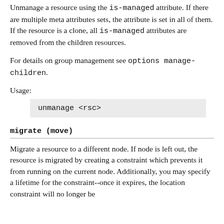Unmanage a resource using the is-managed attribute. If there are multiple meta attributes sets, the attribute is set in all of them. If the resource is a clone, all is-managed attributes are removed from the children resources.
For details on group management see options manage-children.
Usage:
unmanage <rsc>
migrate (move)
Migrate a resource to a different node. If node is left out, the resource is migrated by creating a constraint which prevents it from running on the current node. Additionally, you may specify a lifetime for the constraint--once it expires, the location constraint will no longer be